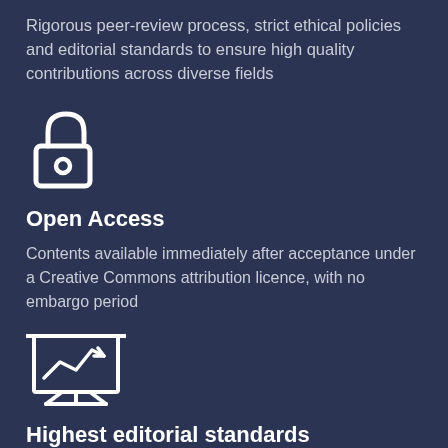Rigorous peer-review process, strict ethical policies and editorial standards to ensure high quality contributions across diverse fields
[Figure (illustration): Open access lock icon — a stylized padlock with an open shackle and a circle/dot at the bottom center, rendered in white outline on dark navy background]
Open Access
Contents available immediately after acceptance under a Creative Commons attribution licence, with no embargo period
[Figure (illustration): Presentation board/chart icon — a rectangular board on a stand with a zigzag upward trend line and an arrow, and an easel stand below, rendered in white outline on dark navy background]
Highest editorial standards
Highest editorial standards with a simplified and cost-effective submission process to ensure efficient